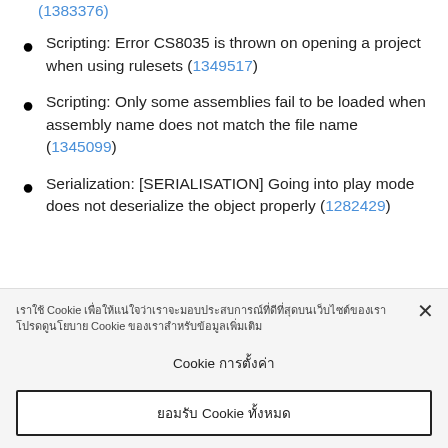(1383376)
Scripting: Error CS8035 is thrown on opening a project when using rulesets (1349517)
Scripting: Only some assemblies fail to be loaded when assembly name does not match the file name (1345099)
Serialization: [SERIALISATION] Going into play mode does not deserialize the object properly (1282429)
Cookie banner with cookie settings and accept options (Thai language text)